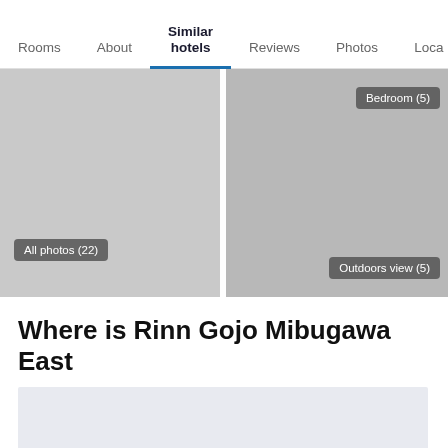Rooms | About | Similar hotels | Reviews | Photos | Loca...
[Figure (photo): Two hotel room photos side by side. Right photo labeled 'Bedroom (5)'. Left photo area has 'All photos (22)' badge. Right lower area has 'Outdoors view (5)' badge.]
Where is Rinn Gojo Mibugawa East
[Figure (map): Map placeholder showing location of Rinn Gojo Mibugawa East]